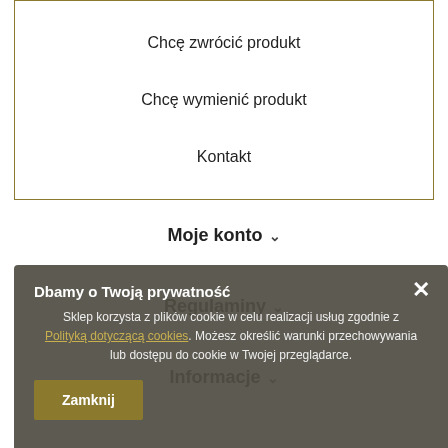Chcę zwrócić produkt
Chcę wymienić produkt
Kontakt
Moje konto
Regulaminy
Informacje
Dbamy o Twoją prywatność
Sklep korzysta z plików cookie w celu realizacji usług zgodnie z Polityką dotyczącą cookies. Możesz określić warunki przechowywania lub dostępu do cookie w Twojej przeglądarce.
Zamknij